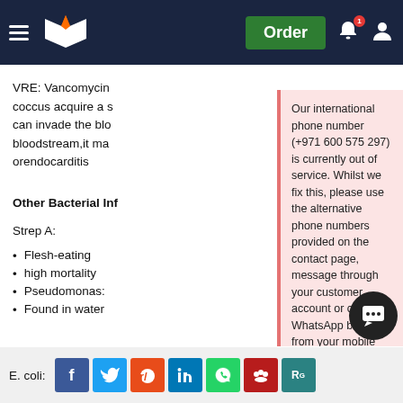[Figure (screenshot): Website header with dark navy background, hamburger menu, book/pen logo, Order button in green, bell icon with red badge showing 1, and user icon]
VRE: Vancomycin coccus acquire a s can invade the blo bloodstream,it ma orendocarditis
Other Bacterial Inf
Strep A:
Flesh-eating
high mortality
Pseudomonas:
Found in water
Our international phone number (+971 600 575 297) is currently out of service. Whilst we fix this, please use the alternative phone numbers provided on the contact page, message through your customer account or click the WhatsApp button from your mobile (Monday – Friday 9am – 5pm, Saturday 10am – 6pm UK time).
August 20, 2022
E. coli:
[Figure (screenshot): Social share buttons: Facebook, Twitter, Reddit, LinkedIn, WhatsApp, Mendeley, ResearchGate]